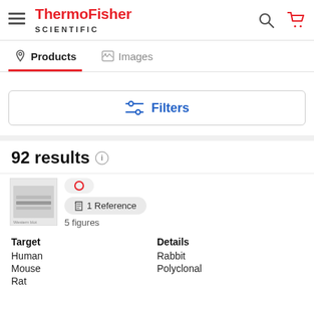ThermoFisher SCIENTIFIC
Products | Images
[Figure (other): Filters button with slider icon]
92 results
[Figure (photo): Western blot thumbnail image showing protein bands]
1 Reference
5 figures
Target
Human
Mouse
Rat
Details
Rabbit
Polyclonal